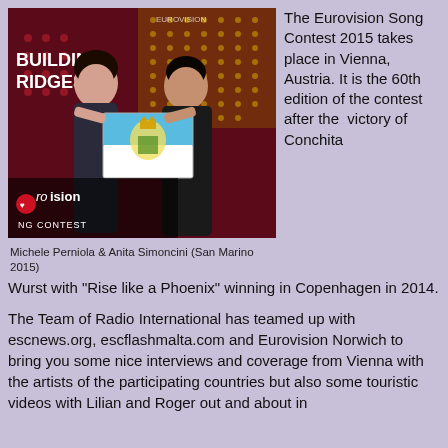[Figure (photo): Michele Perniola and Anita Simoncini holding the San Marino flag at Eurovision 2015, with Building Bridges and Eurovision Song Contest branding in the background.]
Michele Perniola & Anita Simoncini (San Marino 2015)
The Eurovision Song Contest 2015 takes place in Vienna, Austria. It is the 60th edition of the contest after the victory of Conchita Wurst with "Rise like a Phoenix" winning in Copenhagen in 2014.
The Team of Radio International has teamed up with escnews.org, escflashmalta.com and Eurovision Norwich to bring you some nice interviews and coverage from Vienna with the artists of the participating countries but also some touristic videos with Lilian and Roger out and about in